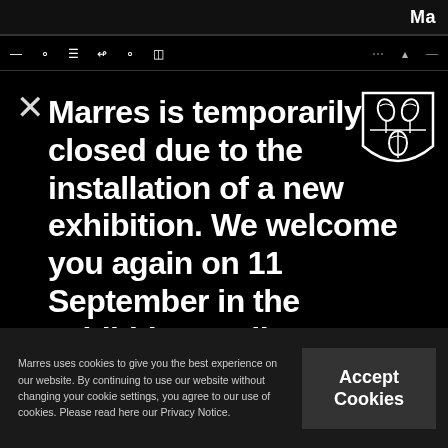Ma
[Figure (screenshot): Navigation bar with icons: dash, circle (home), bars (menu), arrow, circle, grid icon, dots, shape, dash]
[Figure (logo): Marres shield/crest logo with wheat/leaf motifs, outlined in white on black]
Marres is temporarily closed due to the installation of a new exhibition. We welcome you again on 11 September in the exhibition 'Kolkata: Run in the Alley'!
Marres uses cookies to give you the best experience on our website. By continuing to use our website without changing your cookie settings, you agree to our use of cookies. Please read here our Privacy Notice.
Accept Cookies